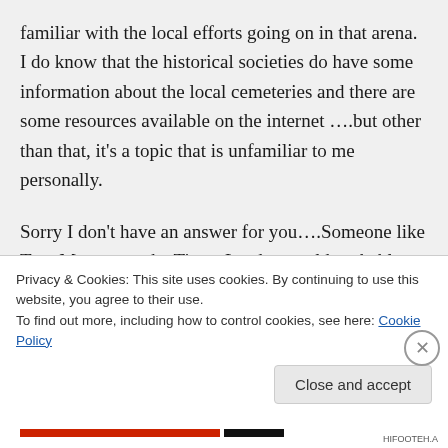familiar with the local efforts going on in that arena. I do know that the historical societies do have some information about the local cemeteries and there are some resources available on the internet ….but other than that, it's a topic that is unfamiliar to me personally.
Sorry I don't have an answer for you….Someone like Tom Mooney at the Times Leader would probably have
Privacy & Cookies: This site uses cookies. By continuing to use this website, you agree to their use.
To find out more, including how to control cookies, see here: Cookie Policy
Close and accept